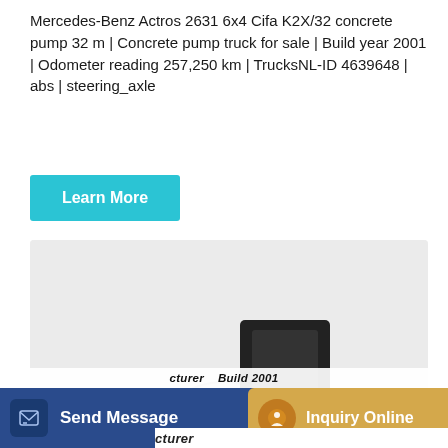Mercedes-Benz Actros 2631 6x4 Cifa K2X/32 concrete pump 32 m | Concrete pump truck for sale | Build year 2001 | Odometer reading 257,250 km | TrucksNL-ID 4639648 | abs | steering_axle
[Figure (other): A green self-loading concrete mixer truck with a large rotating drum, black hopper on top, and cab on the right side, displayed on a light gray background.]